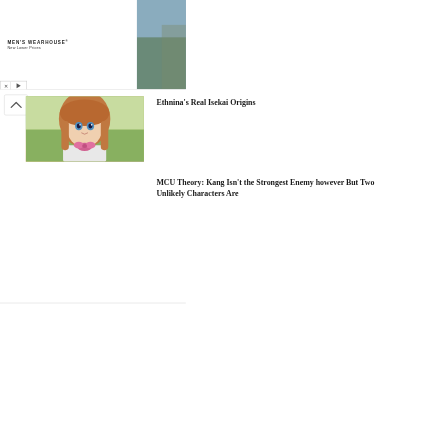[Figure (photo): Men's Wearhouse advertisement banner featuring a couple in formal wear and a man in a suit, with an INFO button]
[Figure (photo): Anime-style illustration of a character with brown hair and a pink bow]
Ethnina’s Real Isekai Origins
MCU Theory: Kang Isn’t the Strongest Enemy however But Two Unlikely Characters Are